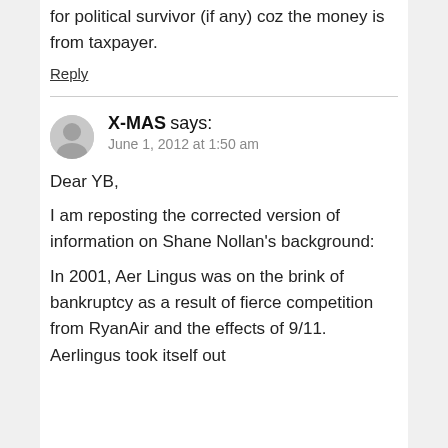for political survivor (if any) coz the money is from taxpayer.
Reply
X-MAS says:
June 1, 2012 at 1:50 am
Dear YB,

I am reposting the corrected version of information on Shane Nollan's background:

In 2001, Aer Lingus was on the brink of bankruptcy as a result of fierce competition from RyanAir and the effects of 9/11. Aerlingus took itself out